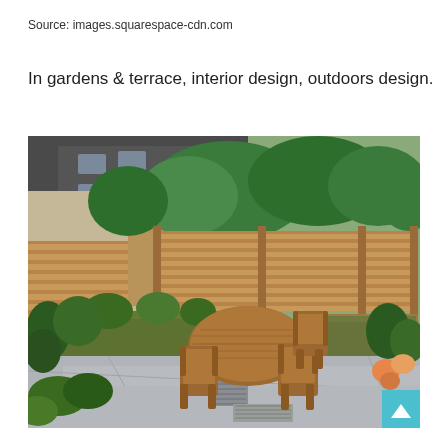Source: images.squarespace-cdn.com
In gardens & terrace, interior design, outdoors design.
[Figure (photo): Outdoor garden terrace with wooden slatted fence, raised planter beds, and a round teak dining table with folding chairs on grey stone paving. Lush green plants and flowers surround the patio area, with a brick building and slate roof visible in the background.]